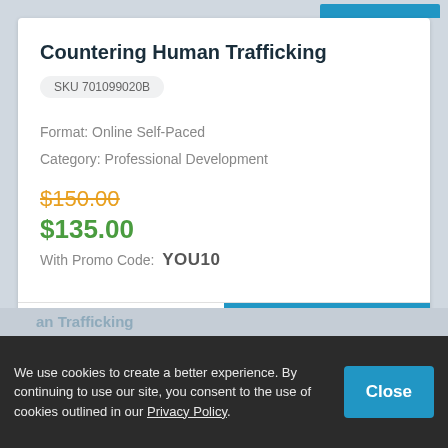Countering Human Trafficking
SKU 701099020B
Format: Online Self-Paced
Category: Professional Development
$150.00
$135.00
With Promo Code:  YOU10
+ More Info
Add To Cart
We use cookies to create a better experience. By continuing to use our site, you consent to the use of cookies outlined in our Privacy Policy.
Close
an Trafficking
SKU 701099019B